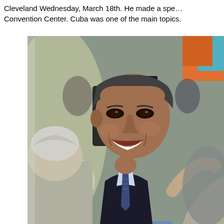Cleveland Wednesday, March 18th. He made a spe... Convention Center. Cuba was one of the main topics.
[Figure (photo): A man smiling broadly while greeting or shaking hands with people in a crowd. He wears a dark suit and tie. Other people are partially visible around him.]